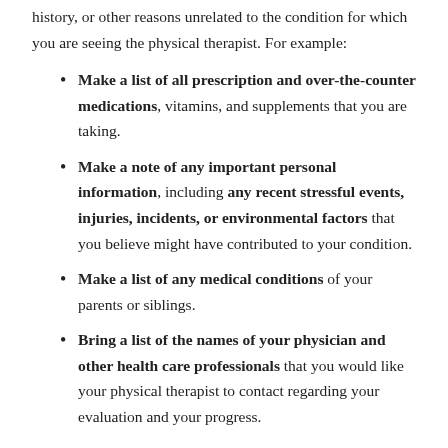history, or other reasons unrelated to the condition for which you are seeing the physical therapist. For example:
Make a list of all prescription and over-the-counter medications, vitamins, and supplements that you are taking.
Make a note of any important personal information, including any recent stressful events, injuries, incidents, or environmental factors that you believe might have contributed to your condition.
Make a list of any medical conditions of your parents or siblings.
Bring a list of the names of your physician and other health care professionals that you would like your physical therapist to contact regarding your evaluation and your progress.
What to Expect During Your